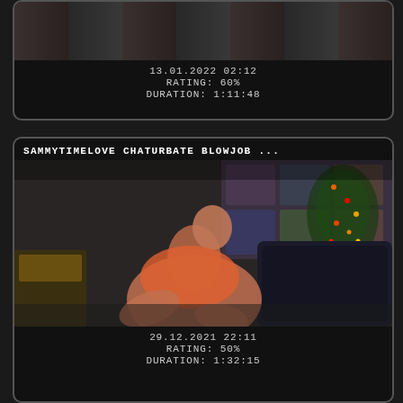[Figure (screenshot): Top video card thumbnail (partially visible at top of page) showing a dark scene]
13.01.2022 02:12
RATING: 60%
DURATION: 1:11:48
SAMMYTIMELOVE CHATURBATE BLOWJOB ...
[Figure (screenshot): Video thumbnail of Sammytimelove chaturbate stream, showing a person in an orange outfit on a dark couch with a Christmas tree in background. Overlay text: 'Sammytimelove']
29.12.2021 22:11
RATING: 50%
DURATION: 1:32:15